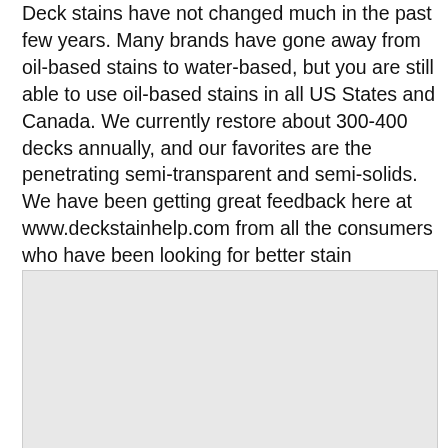Deck stains have not changed much in the past few years. Many brands have gone away from oil-based stains to water-based, but you are still able to use oil-based stains in all US States and Canada. We currently restore about 300-400 decks annually, and our favorites are the penetrating semi-transparent and semi-solids. We have been getting great feedback here at www.deckstainhelp.com from all the consumers who have been looking for better stain alternatives for their deck restoration. Our most popular…
[Figure (photo): A light gray rectangular image placeholder]